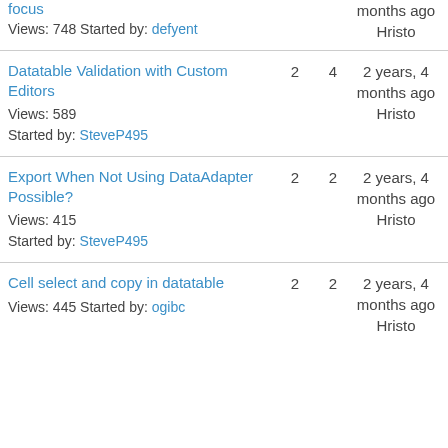focus | Views: 748 Started by: defyent | months ago Hristo
Datatable Validation with Custom Editors | 2 | 4 | 2 years, 4 months ago | Hristo | Views: 589 Started by: SteveP495
Export When Not Using DataAdapter Possible? | 2 | 2 | 2 years, 4 months ago | Hristo | Views: 415 Started by: SteveP495
Cell select and copy in datatable | 2 | 2 | 2 years, 4 months ago | Hristo | Views: 445 Started by: ogibc